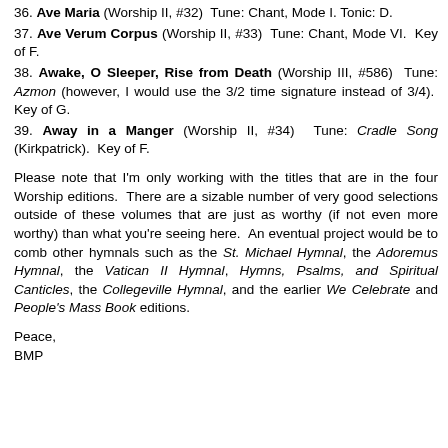36. Ave Maria (Worship II, #32) Tune: Chant, Mode I. Tonic: D.
37. Ave Verum Corpus (Worship II, #33) Tune: Chant, Mode VI. Key of F.
38. Awake, O Sleeper, Rise from Death (Worship III, #586) Tune: Azmon (however, I would use the 3/2 time signature instead of 3/4). Key of G.
39. Away in a Manger (Worship II, #34) Tune: Cradle Song (Kirkpatrick). Key of F.
Please note that I'm only working with the titles that are in the four Worship editions. There are a sizable number of very good selections outside of these volumes that are just as worthy (if not even more worthy) than what you're seeing here. An eventual project would be to comb other hymnals such as the St. Michael Hymnal, the Adoremus Hymnal, the Vatican II Hymnal, Hymns, Psalms, and Spiritual Canticles, the Collegeville Hymnal, and the earlier We Celebrate and People's Mass Book editions.
Peace,
BMP